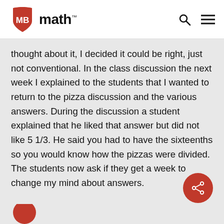MB math™
thought about it, I decided it could be right, just not conventional. In the class discussion the next week I explained to the students that I wanted to return to the pizza discussion and the various answers. During the discussion a student explained that he liked that answer but did not like 5 1/3. He said you had to have the sixteenths so you would know how the pizzas were divided. The students now ask if they get a week to change my mind about answers.